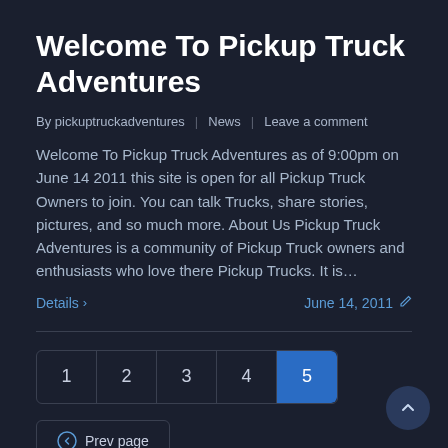Welcome To Pickup Truck Adventures
By pickuptruckadventures | News | Leave a comment
Welcome To Pickup Truck Adventures as of 9:00pm on June 14 2011 this site is open for all Pickup Truck Owners to join. You can talk Trucks, share stories, pictures, and so much more. About Us Pickup Truck Adventures is a community of Pickup Truck owners and enthusiasts who love there Pickup Trucks. It is…
Details > June 14, 2011 ✏
1 2 3 4 5
Prev page